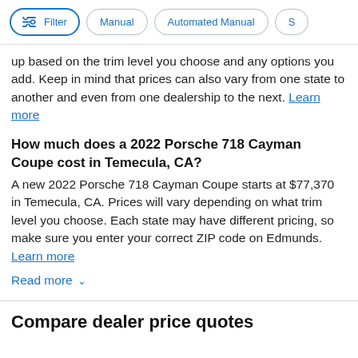Filter | Manual | Automated Manual | S
up based on the trim level you choose and any options you add. Keep in mind that prices can also vary from one state to another and even from one dealership to the next. Learn more
How much does a 2022 Porsche 718 Cayman Coupe cost in Temecula, CA?
A new 2022 Porsche 718 Cayman Coupe starts at $77,370 in Temecula, CA. Prices will vary depending on what trim level you choose. Each state may have different pricing, so make sure you enter your correct ZIP code on Edmunds. Learn more
Read more
Compare dealer price quotes